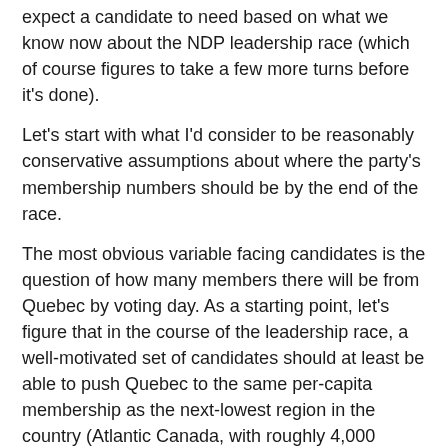expect a candidate to need based on what we know now about the NDP leadership race (which of course figures to take a few more turns before it's done).
Let's start with what I'd consider to be reasonably conservative assumptions about where the party's membership numbers should be by the end of the race.
The most obvious variable facing candidates is the question of how many members there will be from Quebec by voting day. As a starting point, let's figure that in the course of the leadership race, a well-motivated set of candidates should at least be able to push Quebec to the same per-capita membership as the next-lowest region in the country (Atlantic Canada, with roughly 4,000 members for 2.3 million people). Prorated to Quebec's population level, that would set the party's membership in Quebec at just over 13,000.
Across the rest of the country, let's then assume a 10% bump in membership based on both the NDP's improved popular support and the attention of the leadership campaign itself - with the exception of B.C., where the current